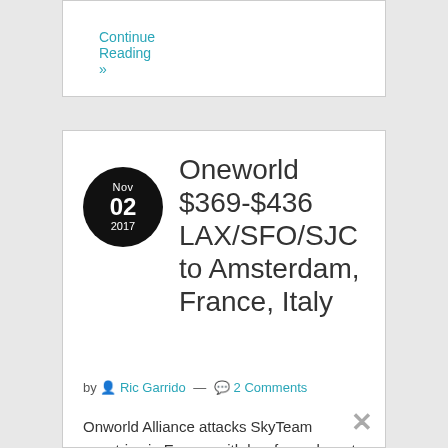Continue Reading »
Oneworld $369-$436 LAX/SFO/SJC to Amsterdam, France, Italy
by Ric Garrido — 2 Comments
Onworld Alliance attacks SkyTeam countries in Europe with low fares down to $369 for LAX, SFO and SJC to Amsterdam and many cities in France and Italy. Travel departures